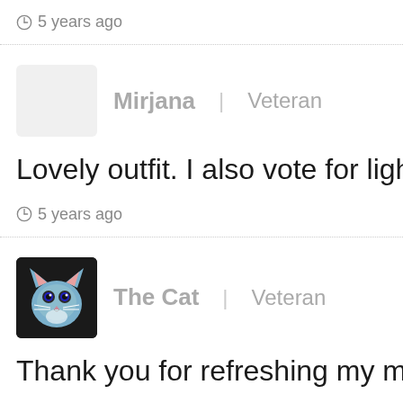5 years ago
Mirjana | Veteran
Lovely outfit. I also vote for lighter b
5 years ago
The Cat | Veteran
Thank you for refreshing my mind